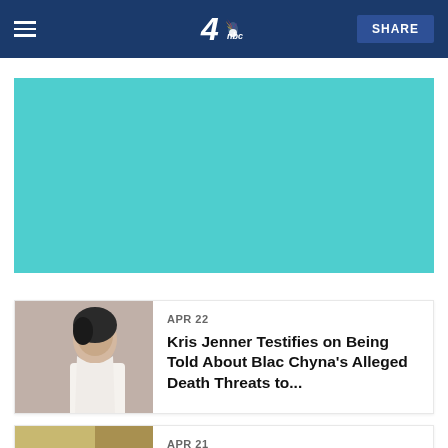NBC4 navigation bar with menu, logo, and SHARE button
[Figure (other): Teal/turquoise advertisement placeholder block]
[Figure (photo): Thumbnail photo of Kris Jenner]
APR 22
Kris Jenner Testifies on Being Told About Blac Chyna's Alleged Death Threats to...
APR 21